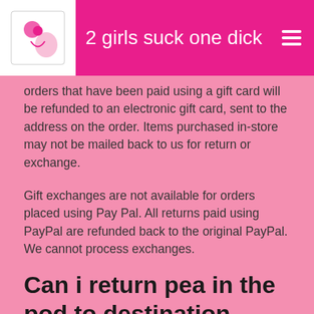2 girls suck one dick
orders that have been paid using a gift card will be refunded to an electronic gift card, sent to the address on the order. Items purchased in-store may not be mailed back to us for return or exchange.
Gift exchanges are not available for orders placed using Pay Pal. All returns paid using PayPal are refunded back to the original PayPal. We cannot process exchanges.
Can i return pea in the pod to destination maternity?
If you wish to exchange an item purchased with PayPal, you must return your item using one of the standard online order return methods listed above, then place a new order. PayPal returns are processed through our system as